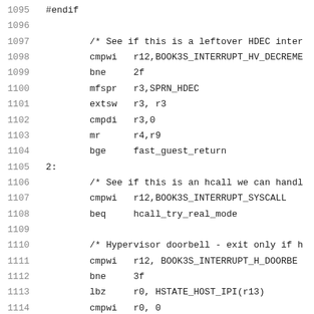[Figure (screenshot): Source code listing showing assembly/kernel code lines 1095-1116 with line numbers on the left and code on the right in monospace font.]